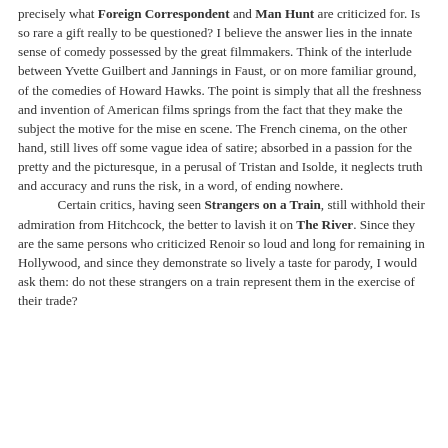precisely what Foreign Correspondent and Man Hunt are criticized for. Is so rare a gift really to be questioned? I believe the answer lies in the innate sense of comedy possessed by the great filmmakers. Think of the interlude between Yvette Guilbert and Jannings in Faust, or on more familiar ground, of the comedies of Howard Hawks. The point is simply that all the freshness and invention of American films springs from the fact that they make the subject the motive for the mise en scene. The French cinema, on the other hand, still lives off some vague idea of satire; absorbed in a passion for the pretty and the picturesque, in a perusal of Tristan and Isolde, it neglects truth and accuracy and runs the risk, in a word, of ending nowhere.
	Certain critics, having seen Strangers on a Train, still withhold their admiration from Hitchcock, the better to lavish it on The River. Since they are the same persons who criticized Renoir so loud and long for remaining in Hollywood, and since they demonstrate so lively a taste for parody, I would ask them: do not these strangers on a train represent them in the exercise of their trade?